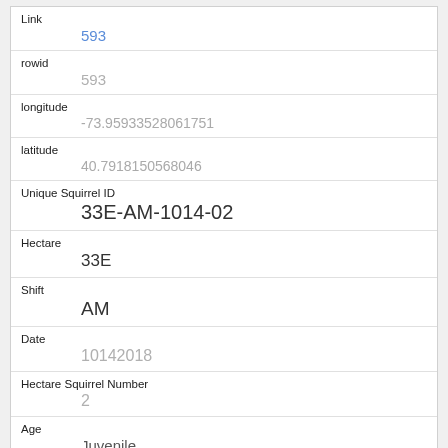| Field | Value |
| --- | --- |
| Link | 593 |
| rowid | 593 |
| longitude | -73.95933528061751 |
| latitude | 40.7918150568046 |
| Unique Squirrel ID | 33E-AM-1014-02 |
| Hectare | 33E |
| Shift | AM |
| Date | 10142018 |
| Hectare Squirrel Number | 2 |
| Age | Juvenile |